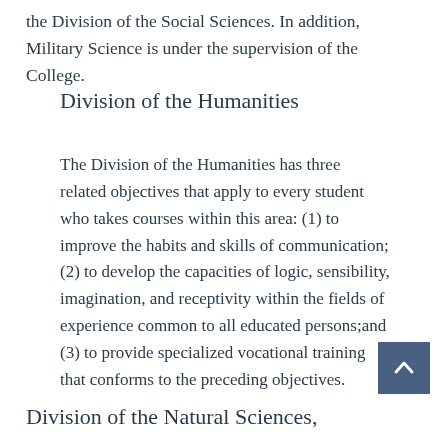the Division of the Social Sciences. In addition, Military Science is under the supervision of the College.
Division of the Humanities
The Division of the Humanities has three related objectives that apply to every student who takes courses within this area: (1) to improve the habits and skills of communication; (2) to develop the capacities of logic, sensibility, imagination, and receptivity within the fields of experience common to all educated persons;and (3) to provide specialized vocational training that conforms to the preceding objectives.
Division of the Natural Sciences,